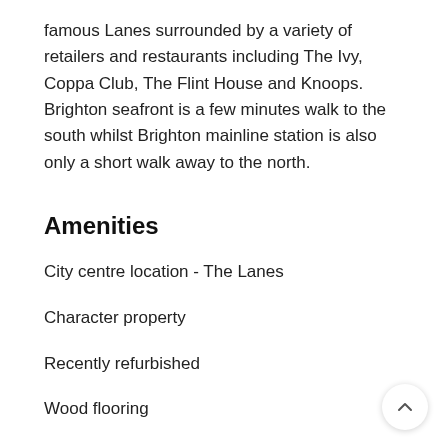famous Lanes surrounded by a variety of retailers and restaurants including The Ivy, Coppa Club, The Flint House and Knoops. Brighton seafront is a few minutes walk to the south whilst Brighton mainline station is also only a short walk away to the north.
Amenities
City centre location - The Lanes
Character property
Recently refurbished
Wood flooring